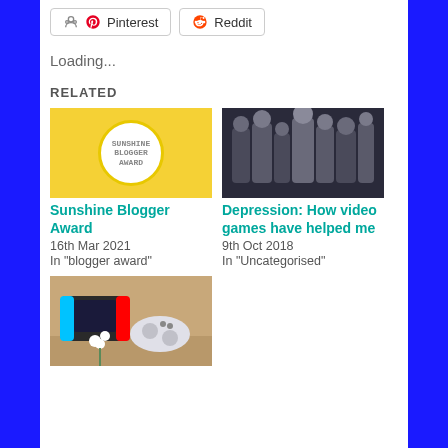[Figure (other): Pinterest and Reddit share buttons]
Loading...
RELATED
[Figure (photo): Sunshine Blogger Award - yellow background with white circle badge]
Sunshine Blogger Award
16th Mar 2021
In "blogger award"
[Figure (photo): Group of video game characters standing together]
Depression: How video games have helped me
9th Oct 2018
In "Uncategorised"
[Figure (photo): Nintendo Switch and PS4 controller with white flowers on wooden surface]